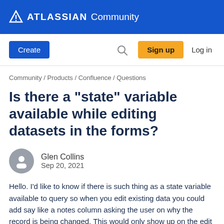ATLASSIAN Community
[Figure (screenshot): Navigation bar with Create button, search icon, Sign up button, and Log in link]
Community / Products / Confluence / Questions
Is there a "state" variable available while editing datasets in the forms?
Glen Collins
Sep 20, 2021
Hello. I'd like to know if there is such thing as a state variable available to query so when you edit existing data you could add say like a notes column asking the user on why the record is being changed. This would only show up on the edit portion of the data